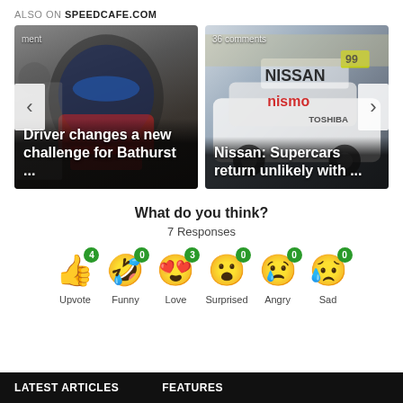ALSO ON SPEEDCAFE.COM
[Figure (photo): Racing driver in helmet with red jacket - card 1 titled 'Driver changes a new challenge for Bathurst ...' with comment count]
[Figure (photo): Nissan Supercars racing car number 99 - card 2 titled 'Nissan: Supercars return unlikely with ...' with 36 comments]
What do you think?
7 Responses
[Figure (infographic): Emoji reaction buttons: Upvote (thumbs up, 4), Funny (laughing face, 0), Love (heart eyes, 3), Surprised (wow face, 0), Angry (crying face, 0), Sad (sad face, 0)]
LATEST ARTICLES   FEATURES